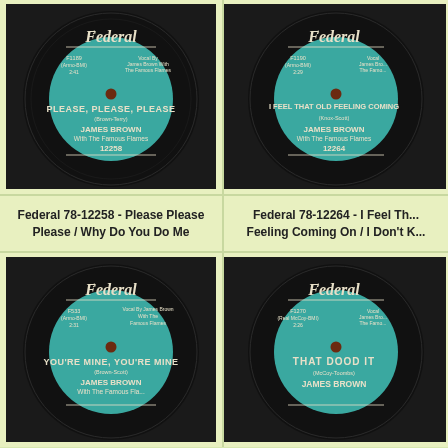[Figure (photo): Federal Records 78-12258 vinyl record label - teal/turquoise color. Shows 'Federal' logo at top, F1189 (Armo-BMI) 2.41, Vocal By James Brown With The Famous Flames, PLEASE, PLEASE, PLEASE (Brown-Terry), JAMES BROWN With The Famous Flames, 12258]
[Figure (photo): Federal Records 78-12264 vinyl record label - teal/turquoise color. Shows 'Federal' logo at top, F1190 (Armo-BMI) 2.29, Vocal James Brown The Famous, I FEEL THAT OLD FEELING COMING (Knox-Scott), JAMES BROWN With The Famous Flames, 12264]
Federal 78-12258 - Please Please Please / Why Do You Do Me
Federal 78-12264 - I Feel That Old Feeling Coming On / I Don't K...
[Figure (photo): Federal Records vinyl record label - teal/turquoise color. Shows 'Federal' logo at top, F533 (Armo-BMI) 2.31, Vocal By James Brown With The Famous Flames, YOU'RE MINE, YOU'RE MINE (Brown-Scott), JAMES BROWN With The Famous Flames]
[Figure (photo): Federal Records vinyl record label - teal/turquoise color. Shows 'Federal' logo at top, F1270 (Real McCoy-BMI) 2.26, Vocal James Brown The Famous, THAT DOOD IT (McCoy-Toombs), JAMES BROWN]